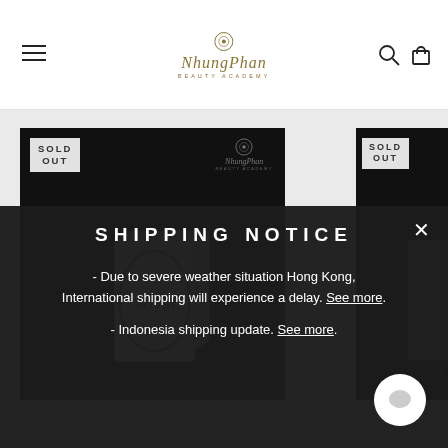NhungPhan logo, menu icon, search icon, cart icon
[Figure (photo): Product photo of Artyst box on black background with sold out badge, partial second product on right also sold out]
SHIPPING NOTICE
- Due to severe weather situation Hong Kong, International shipping will experience a delay. See more.
- Indonesia shipping update. See more.